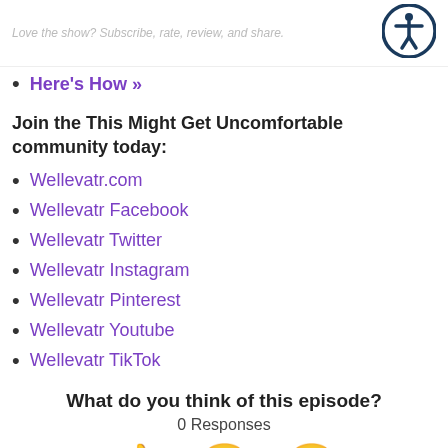Love the show? Subscribe, rate, review, and share.
Here's How »
Join the This Might Get Uncomfortable community today:
Wellevatr.com
Wellevatr Facebook
Wellevatr Twitter
Wellevatr Instagram
Wellevatr Pinterest
Wellevatr Youtube
Wellevatr TikTok
What do you think of this episode?
0 Responses
[Figure (infographic): Three emoji reaction buttons: thumbs up (Upvote), laughing face with tongue out (Funny), heart-eyes face (Love)]